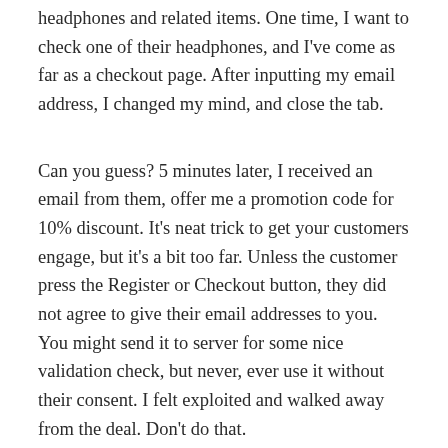headphones and related items. One time, I want to check one of their headphones, and I've come as far as a checkout page. After inputting my email address, I changed my mind, and close the tab.
Can you guess? 5 minutes later, I received an email from them, offer me a promotion code for 10% discount. It's neat trick to get your customers engage, but it's a bit too far. Unless the customer press the Register or Checkout button, they did not agree to give their email addresses to you. You might send it to server for some nice validation check, but never, ever use it without their consent. I felt exploited and walked away from the deal. Don't do that.